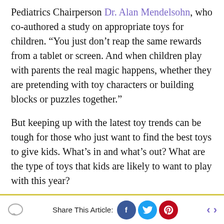Pediatrics Chairperson Dr. Alan Mendelsohn, who co-authored a study on appropriate toys for children. “You just don’t reap the same rewards from a tablet or screen. And when children play with parents the real magic happens, whether they are pretending with toy characters or building blocks or puzzles together.”
But keeping up with the latest toy trends can be tough for those who just want to find the best toys to give kids. What’s in and what’s out? What are the type of toys that kids are likely to want to play with this year?
Fortunately, The Toy Association shed some light on this dilemma at the 116th North American International Toy Fair in February.
Share This Article: